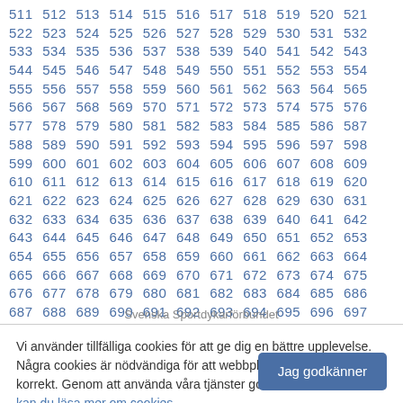511 512 513 514 515 516 517 518 519 520 521 522 523 524 525 526 527 528 529 530 531 532 533 534 535 536 537 538 539 540 541 542 543 544 545 546 547 548 549 550 551 552 553 554 555 556 557 558 559 560 561 562 563 564 565 566 567 568 569 570 571 572 573 574 575 576 577 578 579 580 581 582 583 584 585 586 587 588 589 590 591 592 593 594 595 596 597 598 599 600 601 602 603 604 605 606 607 608 609 610 611 612 613 614 615 616 617 618 619 620 621 622 623 624 625 626 627 628 629 630 631 632 633 634 635 636 637 638 639 640 641 642 643 644 645 646 647 648 649 650 651 652 653 654 655 656 657 658 659 660 661 662 663 664 665 666 667 668 669 670 671 672 673 674 675 676 677 678 679 680 681 682 683 684 685 686 687 688 689 690 691 692 693 694 695 696 697 698 699 700 701 702 703 704 705 706 707 708 709 710 711 712 713 714 715 716 717 718 719 720 721 722 723 724 725 726 727 728 729 »
Svenska Sportdykarförbundet
Vi använder tillfälliga cookies för att ge dig en bättre upplevelse. Några cookies är nödvändiga för att webbplatsen ska fungera korrekt. Genom att använda våra tjänster godkänner du detta. Här kan du läsa mer om cookies.